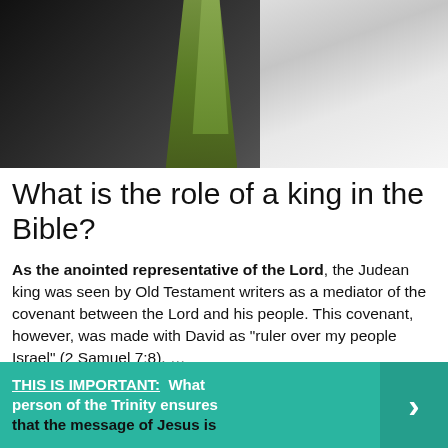[Figure (photo): A dark-robed figure on the left with green plant stalks in the middle and a light-colored hand/arm on the right side, suggesting a biblical scene.]
What is the role of a king in the Bible?
As the anointed representative of the Lord, the Judean king was seen by Old Testament writers as a mediator of the covenant between the Lord and his people. This covenant, however, was made with David as “ruler over my people Israel” (2 Samuel 7:8). …
THIS IS IMPORTANT:  What person of the Trinity ensures that the message of Jesus is